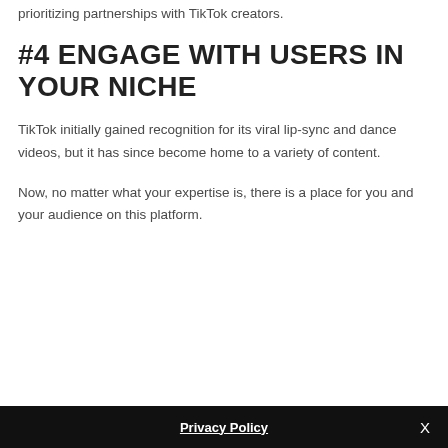prioritizing partnerships with TikTok creators.
#4 ENGAGE WITH USERS IN YOUR NICHE
TikTok initially gained recognition for its viral lip-sync and dance videos, but it has since become home to a variety of content.
Now, no matter what your expertise is, there is a place for you and your audience on this platform.
Privacy Policy  X